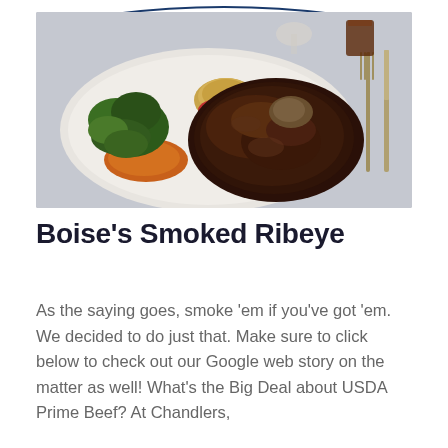[Figure (photo): A large smoked ribeye steak served on a white plate with sautéed broccoli rabe, orange sweet potato mash, and a small round grain side dish. A fork and knife are visible to the right, and drink glasses are in the background on a white tablecloth.]
Boise’s Smoked Ribeye
As the saying goes, smoke ‘em if you’ve got ‘em. We decided to do just that. Make sure to click below to check out our Google web story on the matter as well! What’s the Big Deal about USDA Prime Beef? At Chandlers,